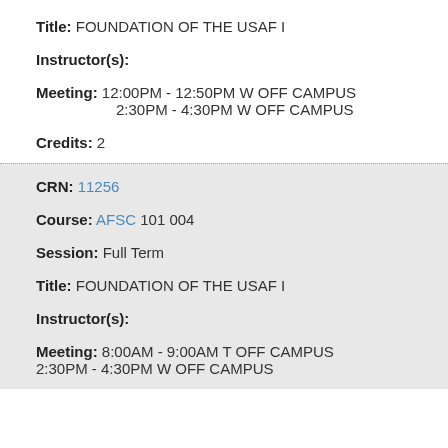Title: FOUNDATION OF THE USAF I
Instructor(s):
Meeting: 12:00PM - 12:50PM W OFF CAMPUS
2:30PM - 4:30PM W OFF CAMPUS
Credits: 2
CRN: 11256
Course: AFSC 101 004
Session: Full Term
Title: FOUNDATION OF THE USAF I
Instructor(s):
Meeting: 8:00AM - 9:00AM T OFF CAMPUS
2:30PM - 4:30PM W OFF CAMPUS